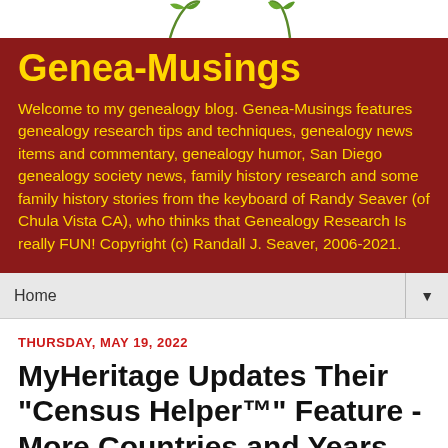[Figure (illustration): Partial view of blog header graphic with green leaf/plant decorations on white background at top of page]
Genea-Musings
Welcome to my genealogy blog. Genea-Musings features genealogy research tips and techniques, genealogy news items and commentary, genealogy humor, San Diego genealogy society news, family history research and some family history stories from the keyboard of Randy Seaver (of Chula Vista CA), who thinks that Genealogy Research Is really FUN! Copyright (c) Randall J. Seaver, 2006-2021.
Home ▼
THURSDAY, MAY 19, 2022
MyHeritage Updates Their "Census Helper™" Feature - More Countries and Years